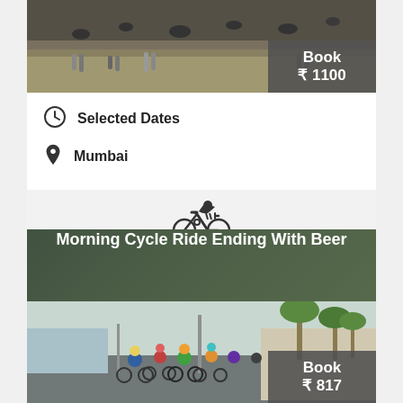[Figure (photo): Photo of outdoor scene, bottom portion showing pavement and feet of people]
Book ₹ 1100
Selected Dates
Mumbai
[Figure (illustration): Cyclist/bicycle icon in dark silhouette]
Morning Cycle Ride Ending With Beer
[Figure (photo): Group of cyclists on a coastal road with palm trees]
Book ₹ 817